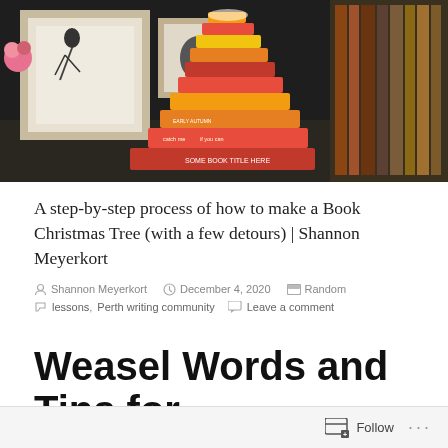[Figure (photo): Photo of a tall stack of books with red and orange covers, arranged like a Christmas tree, on a dark shelf background with framed artwork visible on the left and bookshelves on the right. A pink flower is visible on the left.]
A step-by-step process of how to make a Book Christmas Tree (with a few detours) | Shannon Meyerkort
Shannon Meyerkort   December 4, 2020   Random
lessons, Perth writing community   Leave a comment
Weasel Words and Tips for Writing